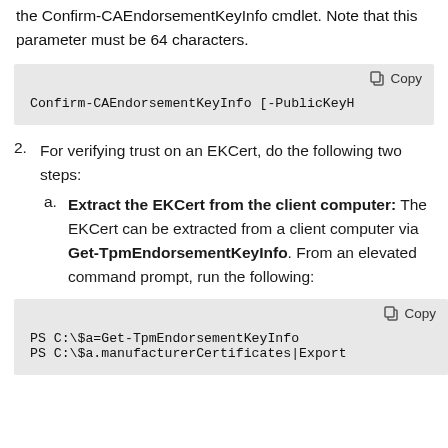the Confirm-CAEndorsementKeyInfo cmdlet. Note that this parameter must be 64 characters.
Confirm-CAEndorsementKeyInfo [-PublicKeyH
2. For verifying trust on an EKCert, do the following two steps:
a. Extract the EKCert from the client computer: The EKCert can be extracted from a client computer via Get-TpmEndorsementKeyInfo. From an elevated command prompt, run the following:
PS C:\$a=Get-TpmEndorsementKeyInfo
PS C:\$a.manufacturerCertificates|Export